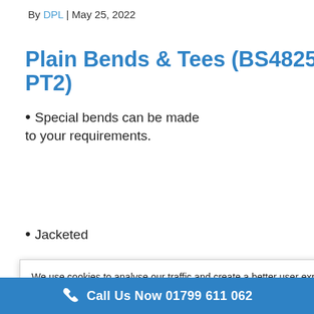By DPL | May 25, 2022
Plain Bends & Tees (BS4825 PT2)
Special bends can be made to your requirements.
Jacketed
We use cookies to analyse our traffic and create a better user experience for you. Using the site means you agree to our use of cookies. More information can be found here.
Cookie settings   ACCEPT
and tees conform ards and BS 4825 cal or hand ite. can be supplied er than BS 4825 available for   required. Please consult with
Call Us Now 01799 611 062